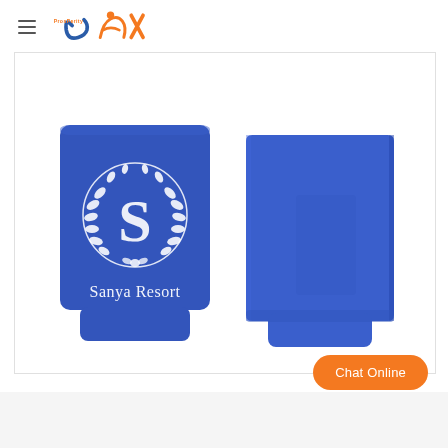[Figure (logo): Prosperity logo with orange figure and stylized text]
[Figure (photo): Two blue neoprene can koozies side by side. Left koozie shows front with white embossed 'S' letter inside a laurel wreath and text 'Sanya Resort' below. Right koozie shows plain blue back side. Both have a footed base.]
Chat Online